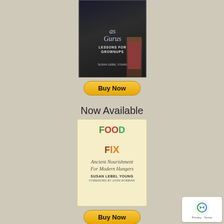[Figure (illustration): Book cover for 'Gurus: Lessons for Grownups' by Susan Lebel Young. Dark chalkboard background with a child in red plaid shirt writing on a chalkboard, standing on a stepstool.]
[Figure (illustration): Buy Now button in yellow/gold with rounded corners]
Now Available
[Figure (illustration): Book cover for 'Food Fix: Ancient Nourishment For Modern Hungers' by Susan Lebel Young, Foreword by John Robbins. Cream/yellow background with colorful food-letter typography.]
[Figure (illustration): Buy Now button in yellow/gold with rounded corners]
[Figure (illustration): reCAPTCHA privacy badge in bottom right corner showing Privacy - Terms text]